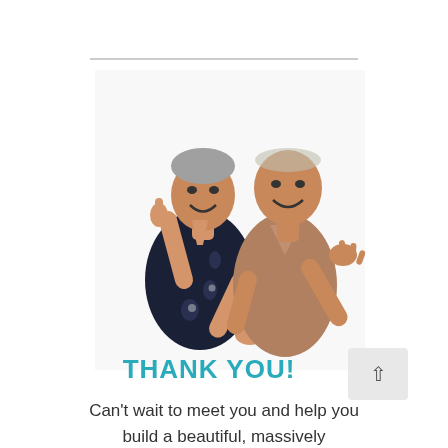[Figure (photo): Two smiling men posing against a white background. The man on the left wears a dark floral/printed shirt and points upward with his right index finger. The man on the right wears a tan/beige long-sleeve shirt and has his arms spread open in a welcoming gesture.]
THANK YOU!
Can't wait to meet you and help you build a beautiful, massively